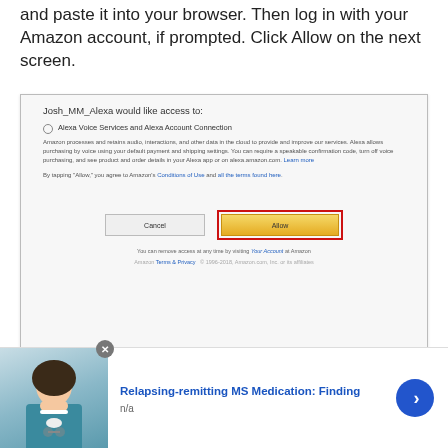and paste it into your browser. Then log in with your Amazon account, if prompted. Click Allow on the next screen.
[Figure (screenshot): Amazon authorization screen showing 'Josh_MM_Alexa would like access to: Alexa Voice Services and Alexa Account Connection' with Cancel and Allow buttons, the Allow button highlighted with a red border.]
You'll see an error on the browser, but don't worry! This is
[Figure (photo): Advertisement banner showing a doctor/medical professional photo with text 'Relapsing-remitting MS Medication: Finding' and 'n/a', with a blue arrow button and close button.]